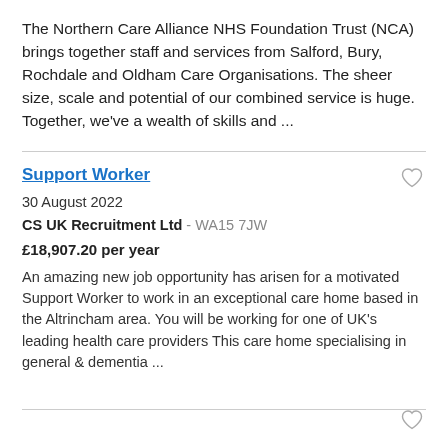The Northern Care Alliance NHS Foundation Trust (NCA) brings together staff and services from Salford, Bury, Rochdale and Oldham Care Organisations. The sheer size, scale and potential of our combined service is huge. Together, we've a wealth of skills and ...
Support Worker
30 August 2022
CS UK Recruitment Ltd - WA15 7JW
£18,907.20 per year
An amazing new job opportunity has arisen for a motivated Support Worker to work in an exceptional care home based in the Altrincham area. You will be working for one of UK's leading health care providers This care home specialising in general & dementia ...